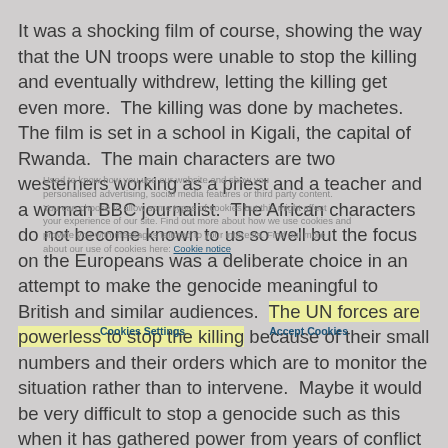It was a shocking film of course, showing the way that the UN troops were unable to stop the killing and eventually withdrew, letting the killing get even more.  The killing was done by machetes.  The film is set in a school in Kigali, the capital of Rwanda.  The main characters are two westerners working as a priest and a teacher and a woman BBC journalist.  The African characters do not become known to us so well but the focus on the Europeans was a deliberate choice in an attempt to make the genocide meaningful to British and similar audiences.  The UN forces are powerless to stop the killing because of their small numbers and their orders which are to monitor the situation rather than to intervene.  Maybe it would be very difficult to stop a genocide such as this when it has gathered power from years of conflict and resentment and is stoked by radio broadcasts encouraging enmity.